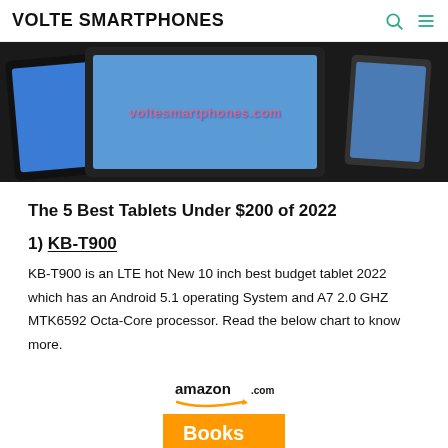VOLTE SMARTPHONES
[Figure (photo): Two tablets and a tablet device arranged against a dark background with voltesmartphones.com watermark text visible on the center tablet screen]
The 5 Best Tablets Under $200 of 2022
1) KB-T900
KB-T900 is an LTE hot New 10 inch best budget tablet 2022 which has an Android 5.1 operating System and A7 2.0 GHZ MTK6592 Octa-Core processor. Read the below chart to know more.
[Figure (logo): Amazon.com Books logo — orange background with white Books text and amazon smile arrow]